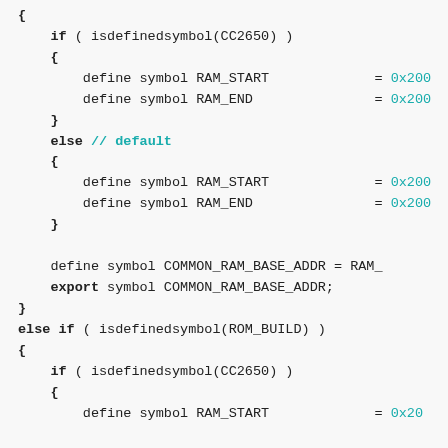[Figure (screenshot): Code snippet showing IAR linker configuration script with conditional symbol definitions for RAM_START, RAM_END, COMMON_RAM_BASE_ADDR based on isdefinedsymbol checks for CC2650 and ROM_BUILD.]